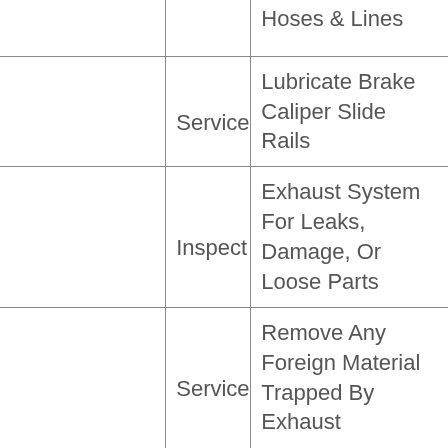|  | Action | Item |
| --- | --- | --- |
|  |  | Hoses & Lines |
|  | Service | Lubricate Brake Caliper Slide Rails |
|  | Inspect | Exhaust System For Leaks, Damage, Or Loose Parts |
|  | Service | Remove Any Foreign Material Trapped By Exhaust |